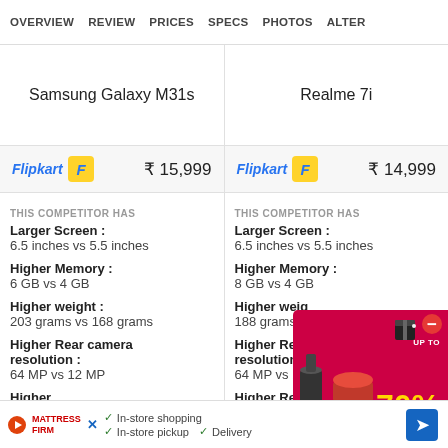OVERVIEW   REVIEW   PRICES   SPECS   PHOTOS   ALTER
Samsung Galaxy M31s
Realme 7i
Flipkart  ₹ 15,999
Flipkart  ₹ 14,999
THIS COMPETITOR HAS
Larger Screen :
6.5 inches vs 5.5 inches
Higher Memory :
6 GB vs 4 GB
Higher weight :
203 grams vs 168 grams
Higher Rear camera resolution :
64 MP vs 12 MP
THIS COMPETITOR HAS
Larger Screen :
6.5 inches vs 5.5 inches
Higher Memory :
8 GB vs 4 GB
Higher weight :
188 grams vs ...
Higher Rear camera resolution :
64 MP vs 12 MP
[Figure (infographic): Advertisement overlay: red box with 70% OFF text and kitchen appliances image, with red minus close button]
In-store shopping  In-store pickup  Delivery